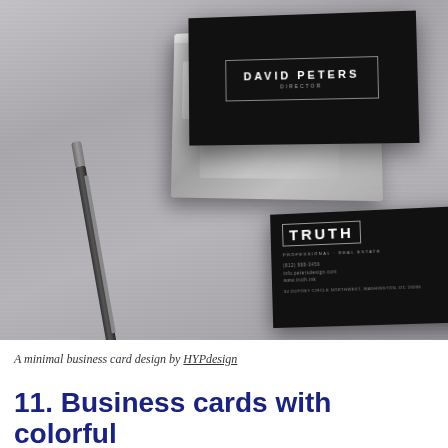[Figure (photo): A photo showing two dark/black business cards (one reading 'DAVID PETERS DIRECTOR' with a border box, another reading 'TRUTH' with contact details), displayed with a silver metallic card holder and a black pen on a grey striped surface.]
A minimal business card design by HYPdesign
11. Business cards with colorful backgrounds